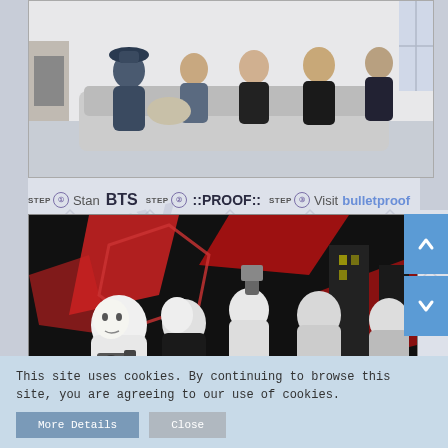[Figure (photo): Group photo of BTS members sitting casually on sofas in a bright room with white walls]
STEP ① Stan BTS  STEP ② ::PROOF::  STEP ③ Visit bulletproof
[Figure (photo): Black and white promotional photo collage of BTS members with red graphic elements, one member holding a camera]
This site uses cookies. By continuing to browse this site, you are agreeing to our use of cookies.
More Details  Close